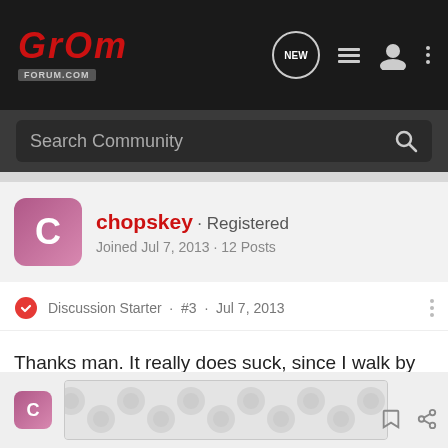GrOm FORUM.COM — navigation bar with NEW, list, user, menu icons
Search Community
chopskey · Registered
Joined Jul 7, 2013 · 12 Posts
Discussion Starter · #3 · Jul 7, 2013
Thanks man. It really does suck, since I walk by the spot everyday. Just try not to think about it.
[Figure (other): Advertisement banner with grey bubble/circle decorative pattern]